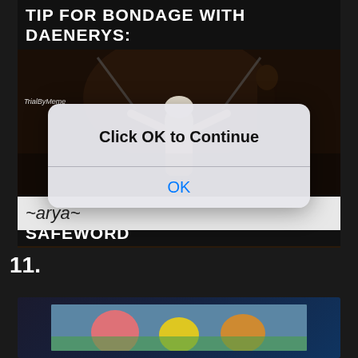[Figure (photo): Meme image showing a scene from Game of Thrones with text overlay. Top text: 'TIP FOR BONDAGE WITH DAENERYS:'. Bottom text: 'DON'T MAKE 'DRACARYS' THE SAFEWORD'. Watermark: 'TrialByMeme'. imgflip.com watermark at bottom.]
[Figure (screenshot): iOS-style dialog box overlaid on the meme with bold text 'Click OK to Continue' and a blue 'OK' button below a divider line.]
~arya~
11.
[Figure (photo): Partial view of another meme image at the bottom of the page, showing colorful cartoon characters.]